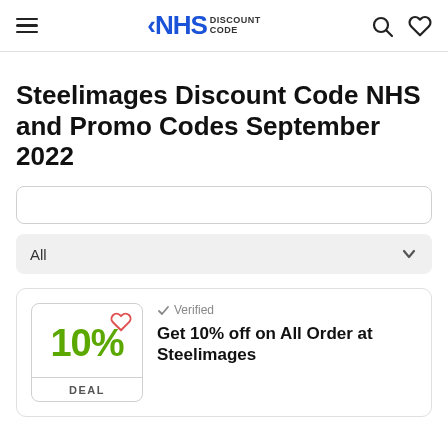NHS DISCOUNT CODE
Steelimages Discount Code NHS and Promo Codes September 2022
All
✓ Verified
Get 10% off on All Order at Steelimages
DEAL